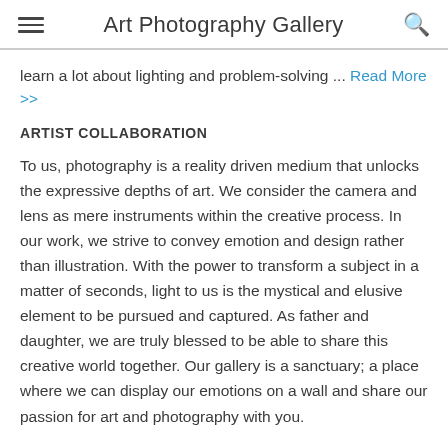Art Photography Gallery
learn a lot about lighting and problem-solving ... Read More >>
ARTIST COLLABORATION
To us, photography is a reality driven medium that unlocks the expressive depths of art. We consider the camera and lens as mere instruments within the creative process. In our work, we strive to convey emotion and design rather than illustration. With the power to transform a subject in a matter of seconds, light to us is the mystical and elusive element to be pursued and captured. As father and daughter, we are truly blessed to be able to share this creative world together. Our gallery is a sanctuary; a place where we can display our emotions on a wall and share our passion for art and photography with you.